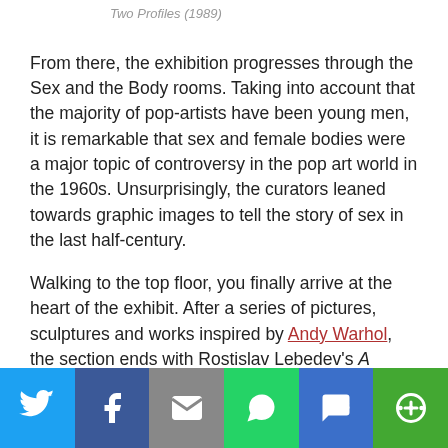Two Profiles (1989)
From there, the exhibition progresses through the Sex and the Body rooms. Taking into account that the majority of pop-artists have been young men, it is remarkable that sex and female bodies were a major topic of controversy in the pop art world in the 1960s. Unsurprisingly, the curators leaned towards graphic images to tell the story of sex in the last half-century.
Walking to the top floor, you finally arrive at the heart of the exhibit. After a series of pictures, sculptures and works inspired by Andy Warhol, the section ends with Rostislav Lebedev's A Dream Comes True (2008). As Sokov's previously mentioned work, it is truly a painting where East meets West.
[Figure (infographic): Social media share bar with icons: Twitter (blue), Facebook (dark blue), Email (gray), WhatsApp (green), SMS (blue), More (green)]